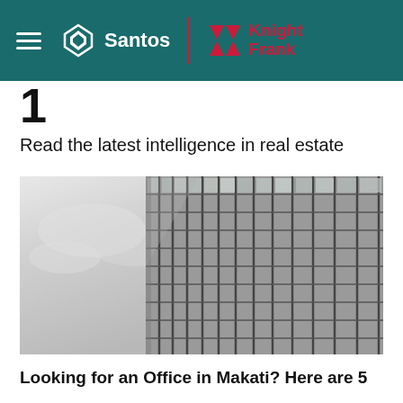Santos Knight Frank
1
Read the latest intelligence in real estate
[Figure (photo): Upward-angled black and white photograph of a glass-curtain-wall office building against a cloudy sky]
Looking for an Office in Makati? Here are 5